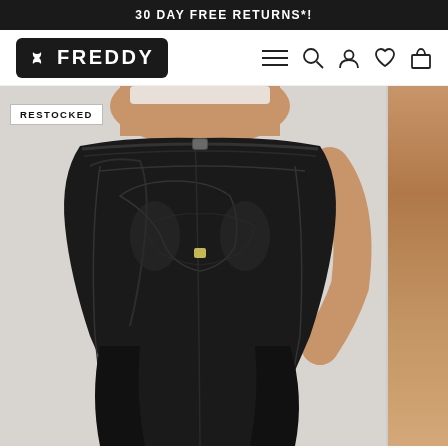30 DAY FREE RETURNS*!
[Figure (logo): Freddy brand logo — white stylized leaf/F icon on black background with FREDDY text in white bold capitals]
[Figure (photo): Back view of a woman wearing black faux-leather high-waist shaping leggings with decorative stitching and back pocket with small Freddy logo badge. Background is light grey. A 'RESTOCKED' badge is shown in the top-left corner. A partial view of a second photo (skin/warm tone) is visible on the far right edge.]